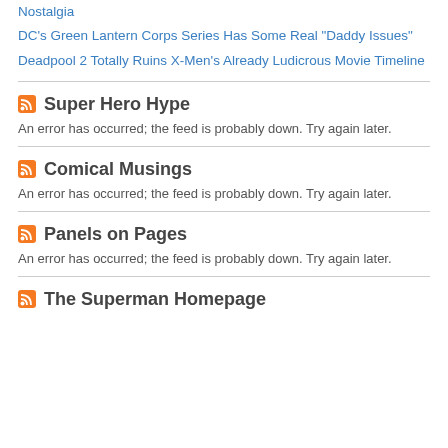Nostalgia
DC's Green Lantern Corps Series Has Some Real "Daddy Issues"
Deadpool 2 Totally Ruins X-Men's Already Ludicrous Movie Timeline
Super Hero Hype
An error has occurred; the feed is probably down. Try again later.
Comical Musings
An error has occurred; the feed is probably down. Try again later.
Panels on Pages
An error has occurred; the feed is probably down. Try again later.
The Superman Homepage